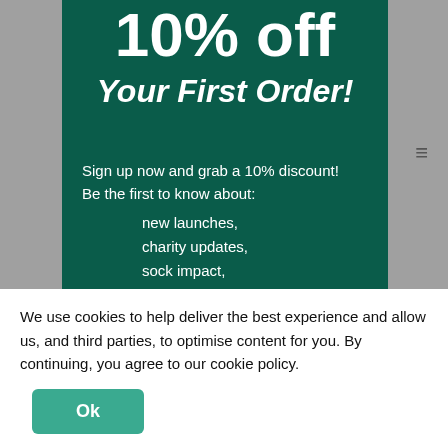10% off
Your First Order!
Sign up now and grab a 10% discount!
Be the first to know about:
new launches,
charity updates,
sock impact,
animal news!
Email
Continue
We use cookies to help deliver the best experience and allow us, and third parties, to optimise content for you. By continuing, you agree to our cookie policy.
Ok
What a Scent!